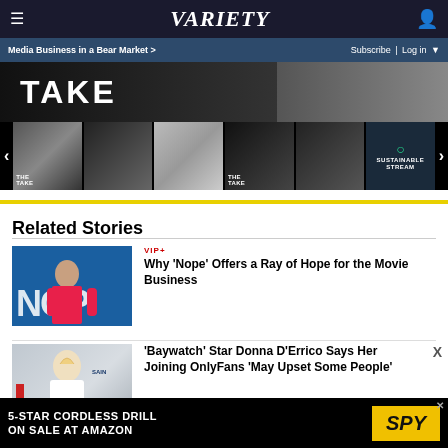VARIETY — Media Business in a Bear Market > | Subscribe | Log in
[Figure (screenshot): Hero image strip showing 'THE TAKE' title and dark cinematic images]
[Figure (screenshot): Thumbnail carousel row with multiple movie/show thumbnails and navigation arrows, including THE TAKE images and Sustainable Stream]
Related Stories
[Figure (screenshot): Nope movie poster thumbnail showing blue background with NOPE text and a person]
VIP+
Why 'Nope' Offers a Ray of Hope for the Movie Business
[Figure (photo): Baywatch star Donna D'Errico photo thumbnail]
'Baywatch' Star Donna D'Errico Says Her Joining OnlyFans 'May Upset Some People'
[Figure (screenshot): Advertisement banner: 5-STAR CORDLESS DRILL ON SALE AT AMAZON — SPY]